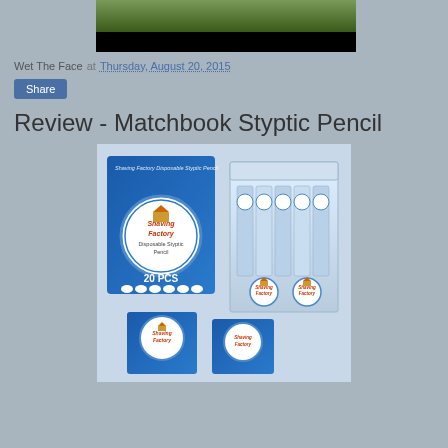[Figure (photo): Top portion of a blog header photo showing an outdoor scene with green foliage and black background strip]
Wet The Face at Thursday, August 20, 2015
Share
Review - Matchbook Styptic Pencil
[Figure (photo): Product photo of Shaving Factory Disposable Styptic Pencil 20 PCS box set, showing the front package with circular logo and blue box with individual pencils]